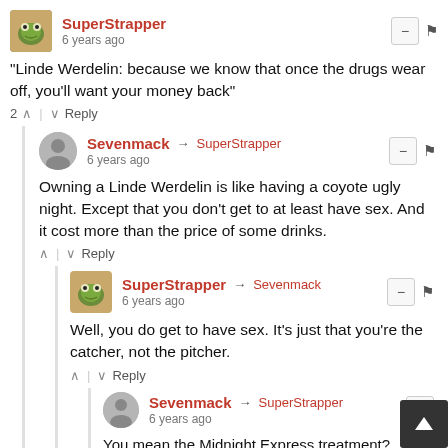SuperStrapper — 6 years ago
"Linde Werdelin: because we know that once the drugs wear off, you'll want your money back"
2 ^ | v Reply
Sevenmack → SuperStrapper — 6 years ago
Owning a Linde Werdelin is like having a coyote ugly night. Except that you don't get to at least have sex. And it cost more than the price of some drinks.
^ | v Reply
SuperStrapper → Sevenmack — 6 years ago
Well, you do get to have sex. It's just that you're the catcher, not the pitcher.
^ | v Reply
Sevenmack → SuperStrapper — 6 years ago
You mean the Midnight Express treatment?